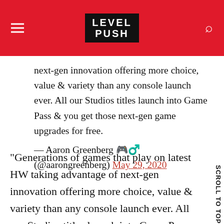LEVEL PUSH
next-gen innovation offering more choice, value & variety than any console launch ever. All our Studios titles launch into Game Pass & you get those next-gen game upgrades for free.
— Aaron Greenberg 🎮♂️ (@aarongreenberg) May 29, 2020
“Generations of games that play on latest HW taking advantage of next-gen innovation offering more choice, value & variety than any console launch ever. All our Studios titles launch into Game Pass & you get those next-gen game upgrades for free,” Greenberg tweeted.